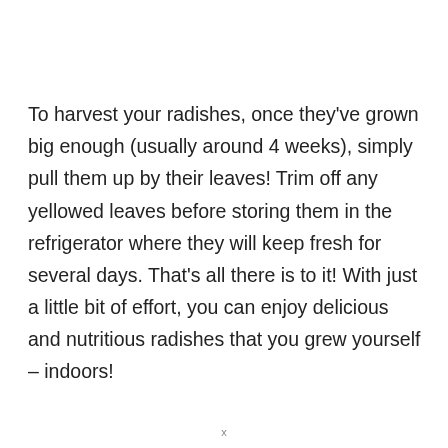To harvest your radishes, once they've grown big enough (usually around 4 weeks), simply pull them up by their leaves! Trim off any yellowed leaves before storing them in the refrigerator where they will keep fresh for several days. That's all there is to it! With just a little bit of effort, you can enjoy delicious and nutritious radishes that you grew yourself – indoors!